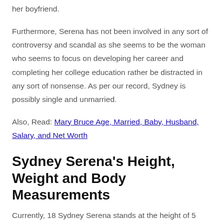her boyfriend.
Furthermore, Serena has not been involved in any sort of controversy and scandal as she seems to be the woman who seems to focus on developing her career and completing her college education rather be distracted in any sort of nonsense. As per our record, Sydney is possibly single and unmarried.
Also, Read: Mary Bruce Age, Married, Baby, Husband, Salary, and Net Worth
Sydney Serena's Height, Weight and Body Measurements
Currently, 18 Sydney Serena stands at the height of 5